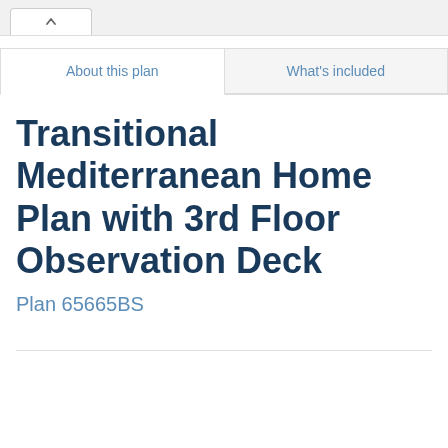[Figure (screenshot): Browser tab bar with a single open tab showing an up-arrow chevron icon]
About this plan
What's included
Transitional Mediterranean Home Plan with 3rd Floor Observation Deck
Plan 65665BS